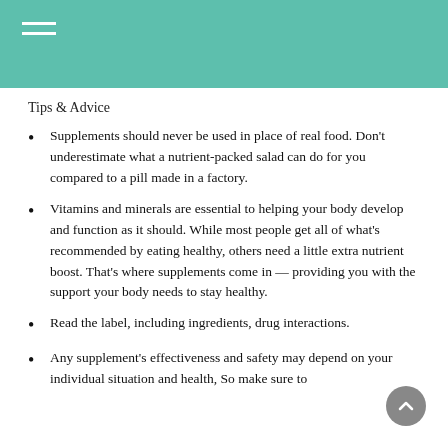Tips & Advice
Supplements should never be used in place of real food. Don't underestimate what a nutrient-packed salad can do for you compared to a pill made in a factory.
Vitamins and minerals are essential to helping your body develop and function as it should. While most people get all of what's recommended by eating healthy, others need a little extra nutrient boost. That's where supplements come in — providing you with the support your body needs to stay healthy.
Read the label, including ingredients, drug interactions.
Any supplement's effectiveness and safety may depend on your individual situation and health, So make sure to